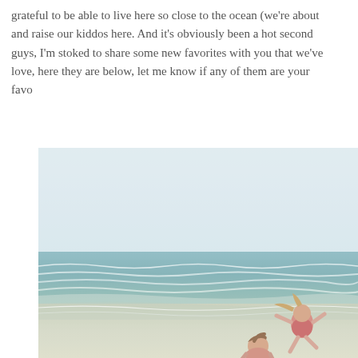grateful to be able to live here so close to the ocean (we're about and raise our kiddos here. And it's obviously been a hot second guys, I'm stoked to share some new favorites with you that we've love, here they are below, let me know if any of them are your favo
[Figure (photo): Children playing at the beach near ocean waves. Two children visible, one in a pink swimsuit running, another crouching near the water's edge. Light overcast sky, gentle waves, sandy beach.]